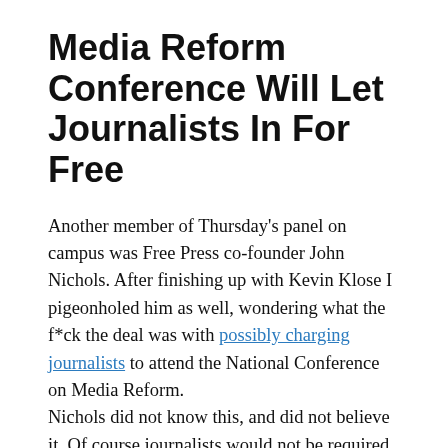Media Reform Conference Will Let Journalists In For Free
Another member of Thursday's panel on campus was Free Press co-founder John Nichols. After finishing up with Kevin Klose I pigeonholed him as well, wondering what the f*ck the deal was with possibly charging journalists to attend the National Conference on Media Reform.
Nichols did not know this, and did not believe it. Of course journalists would not be required to pay for entry. He said they will not make distinctions between news organizations,